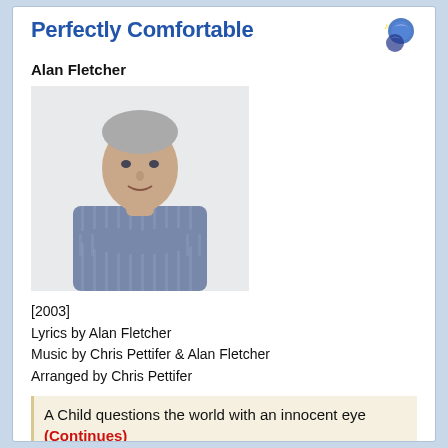Perfectly Comfortable
Alan Fletcher
[Figure (photo): Portrait photo of Alan Fletcher, a middle-aged man with short grey hair wearing a striped shirt, arms crossed]
[2003]
Lyrics by Alan Fletcher
Music by Chris Pettifer & Alan Fletcher
Arranged by Chris Pettifer
A Child questions the world with an innocent eye
(Continues)
Contributed by giorgio 2011/1/31 - 13:50